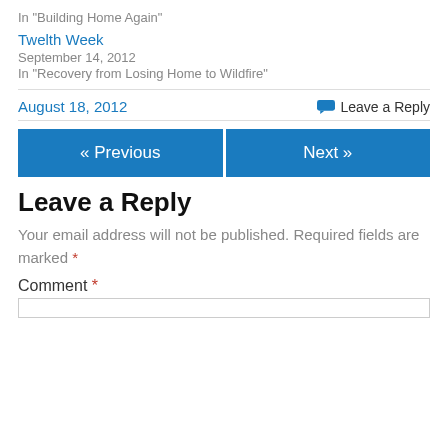In "Building Home Again"
Twelth Week
September 14, 2012
In "Recovery from Losing Home to Wildfire"
August 18, 2012
Leave a Reply
« Previous
Next »
Leave a Reply
Your email address will not be published. Required fields are marked *
Comment *